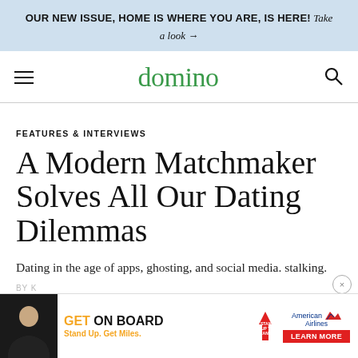OUR NEW ISSUE, HOME IS WHERE YOU ARE, IS HERE! Take a look →
domino
FEATURES & INTERVIEWS
A Modern Matchmaker Solves All Our Dating Dilemmas
Dating in the age of apps, ghosting, and social media. stalking.
BY K
[Figure (screenshot): American Airlines 'Get On Board' advertisement banner with Stand Up To Cancer logos and Learn More button]